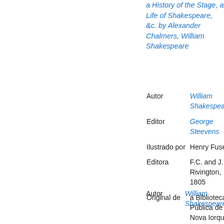a History of the Stage, a Life of Shakespeare, &c. by Alexander Chalmers, William Shakespeare
| Autor | William Shakespeare |
| Editor | George Steevens |
| Ilustrado por | Henry Fuseli |
| Editora | F.C. and J. Rivington, 1805 |
| Original de | a Biblioteca Pública de Nova Iorque |
| Digitalizado | 28 Dez 2006 |